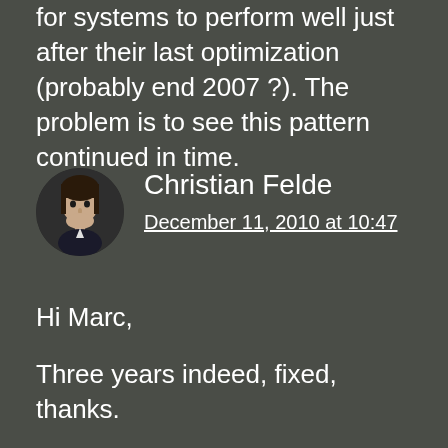for systems to perform well just after their last optimization (probably end 2007 ?). The problem is to see this pattern continued in time.
[Figure (photo): Circular avatar photo of Christian Felde, a person with light skin and dark hair against a dark background.]
Christian Felde
December 11, 2010 at 10:47
Hi Marc,
Three years indeed, fixed, thanks.
Regarding optimization, guess I could have included a bit more technical details here: The